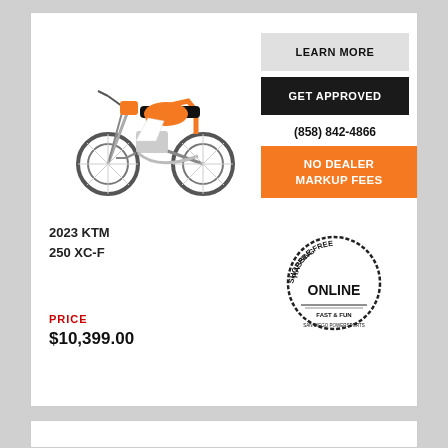[Figure (photo): Orange and white KTM 250 XC-F dirt bike / motocross motorcycle on white background]
LEARN MORE
GET APPROVED
(858) 842-4866
NO DEALER MARKUP FEES
2023 KTM 250 XC-F
[Figure (logo): Hassle Free Shopping Online circular badge / logo with 'Fast & Fun' tagline]
PRICE
$10,399.00